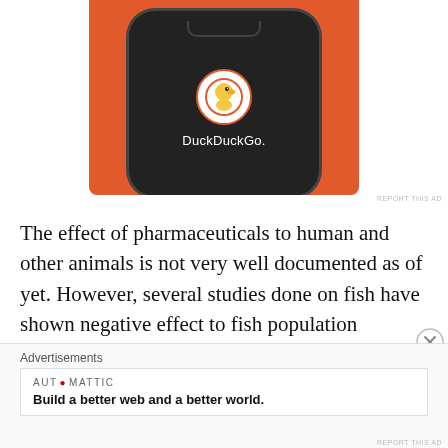[Figure (screenshot): DuckDuckGo advertisement showing a phone with DuckDuckGo logo on an orange background]
REPORT THIS AD
The effect of pharmaceuticals to human and other animals is not very well documented as of yet. However, several studies done on fish have shown negative effect to fish population exposed to elevated levels of pharmaceuticals in rivers, streams, and lakes (Daughton & Temes, 1999; Boxall et al. 2003a; 2004a;
Advertisements
[Figure (screenshot): Automattic advertisement: Build a better web and a better world.]